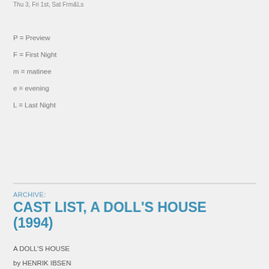Thu 3, Fri 1st, Sat Frm&Ls
P = Preview
F = First Night
m = matinee
e = evening
L = Last Night
ARCHIVE:
CAST LIST, A DOLL'S HOUSE (1994)
A DOLL'S HOUSE
by HENRIK IBSEN